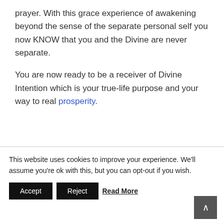prayer. With this grace experience of awakening beyond the sense of the separate personal self you now KNOW that you and the Divine are never separate.

You are now ready to be a receiver of Divine Intention which is your true-life purpose and your way to real prosperity.
This website uses cookies to improve your experience. We'll assume you're ok with this, but you can opt-out if you wish.